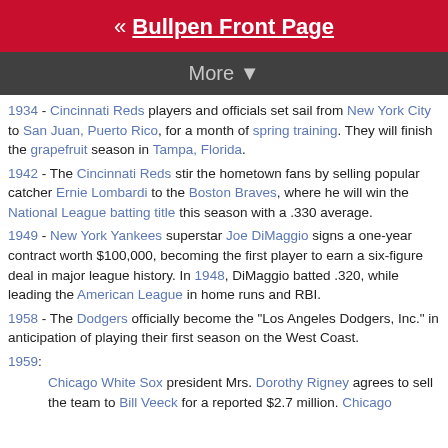« Bullpen Front Page
More ▼
1934 - Cincinnati Reds players and officials set sail from New York City to San Juan, Puerto Rico, for a month of spring training. They will finish the grapefruit season in Tampa, Florida.
1942 - The Cincinnati Reds stir the hometown fans by selling popular catcher Ernie Lombardi to the Boston Braves, where he will win the National League batting title this season with a .330 average.
1949 - New York Yankees superstar Joe DiMaggio signs a one-year contract worth $100,000, becoming the first player to earn a six-figure deal in major league history. In 1948, DiMaggio batted .320, while leading the American League in home runs and RBI.
1958 - The Dodgers officially become the "Los Angeles Dodgers, Inc." in anticipation of playing their first season on the West Coast.
1959:
Chicago White Sox president Mrs. Dorothy Rigney agrees to sell the team to Bill Veeck for a reported $2.7 million. Chicago